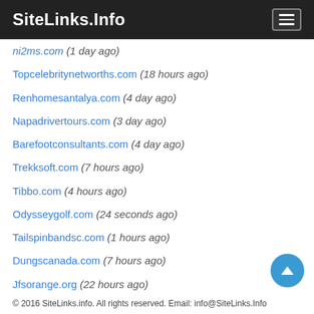SiteLinks.Info
...ni2ms.com (1 day ago)
Topcelebritynetworths.com (18 hours ago)
Renhomesantalya.com (4 day ago)
Napadrivertours.com (3 day ago)
Barefootconsultants.com (4 day ago)
Trekksoft.com (7 hours ago)
Tibbo.com (4 hours ago)
Odysseygolf.com (24 seconds ago)
Tailspinbandsc.com (1 hours ago)
Dungscanada.com (7 hours ago)
Jfsorange.org (22 hours ago)
Marloweslu.com (7 hours ago)
Simurdakconstruction.com (4 day ago)
© 2016 SiteLinks.info. All rights reserved. Email: info@SiteLinks.Info